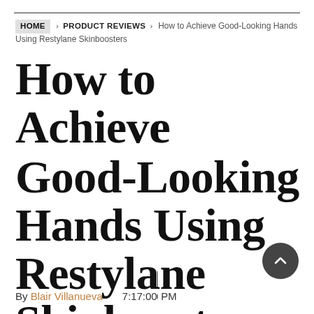HOME > PRODUCT REVIEWS > How to Achieve Good-Looking Hands Using Restylane Skinboosters
How to Achieve Good-Looking Hands Using Restylane Skinboosters
By Blair Villanueva   7:17:00 PM